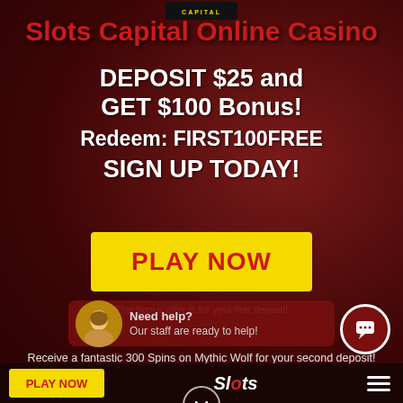[Figure (screenshot): Slots Capital Online Casino promotional screenshot with dark red background, casino logo badge at top, promotional text, yellow PLAY NOW button, chat popup overlay, and bottom navigation bar]
Slots Capital Online Casino
DEPOSIT $25 and GET $100 Bonus!
Redeem: FIRST100FREE
SIGN UP TODAY!
PLAY NOW
Need help? Our staff are ready to help!
This bonus offer is for your first deposit!
Receive a fantastic 300 Spins on Mythic Wolf for your second deposit!
Terms and Conditions apply!
PLAY NOW